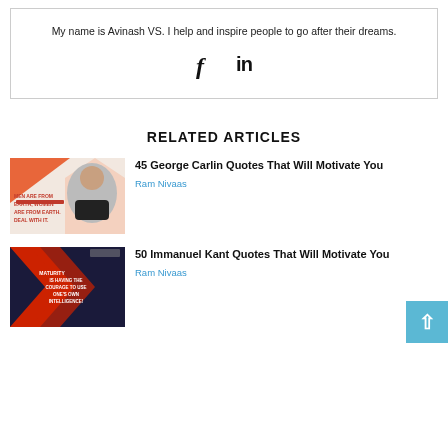My name is Avinash VS. I help and inspire people to go after their dreams.
[Figure (other): Social media icons: Facebook (f) and LinkedIn (in)]
RELATED ARTICLES
[Figure (photo): Thumbnail image for George Carlin quotes article showing George Carlin's photo with text 'MEN ARE FROM EARTH, WOMEN ARE FROM EARTH. DEAL WITH IT.' on an orange/pink background]
45 George Carlin Quotes That Will Motivate You
Ram Nivaas
[Figure (photo): Thumbnail image for Immanuel Kant quotes article showing dark navy/red geometric design with text 'MATURITY IS HAVING THE COURAGE TO USE ONE'S OWN INTELLIGENCE!']
50 Immanuel Kant Quotes That Will Motivate You
Ram Nivaas